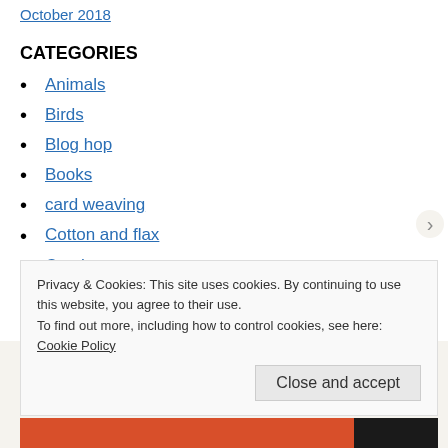October 2018
CATEGORIES
Animals
Birds
Blog hop
Books
card weaving
Cotton and flax
Crochet
Dyeing
Events
Privacy & Cookies: This site uses cookies. By continuing to use this website, you agree to their use. To find out more, including how to control cookies, see here: Cookie Policy
Close and accept